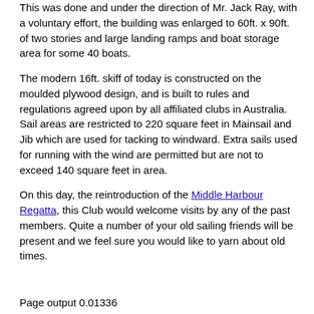This was done and under the direction of Mr. Jack Ray, with a voluntary effort, the building was enlarged to 60ft. x 90ft. of two stories and large landing ramps and boat storage area for some 40 boats.
The modern 16ft. skiff of today is constructed on the moulded plywood design, and is built to rules and regulations agreed upon by all affiliated clubs in Australia. Sail areas are restricted to 220 square feet in Mainsail and Jib which are used for tacking to windward. Extra sails used for running with the wind are permitted but are not to exceed 140 square feet in area.
On this day, the reintroduction of the Middle Harbour Regatta, this Club would welcome visits by any of the past members. Quite a number of your old sailing friends will be present and we feel sure you would like to yarn about old times.
Page output 0.01336